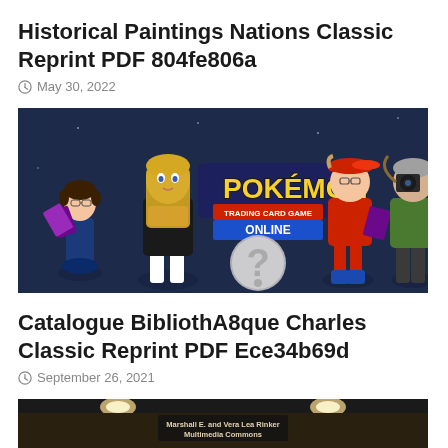Historical Paintings Nations Classic Reprint PDF 804fe806a
May 30, 2022
[Figure (illustration): Promotional image for Pokémon Trading Card Game Online featuring animated cartoon characters holding cards against a dark blue background with the Pokémon logo and a question mark symbol]
Catalogue BibliothA8que Charles Classic Reprint PDF Ece34b69d
September 26, 2021
[Figure (photo): Partial image of a room interior with text overlay reading 'Marshall E. and Vera Lea Rinker Multimedia Commons']